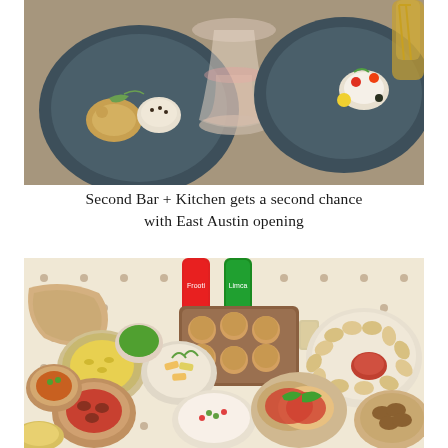[Figure (photo): Overhead view of elegant plated dishes on dark blue-grey ceramic plates, including garnished seafood and vegetable dishes, with a wine glass containing rosé wine in the center, on a wooden table]
Second Bar + Kitchen gets a second chance with East Austin opening
[Figure (photo): Overhead view of a spread of Indian street food dishes on a light perforated board, including pani puri, bread, yellow rice, curries, chutneys, and various snacks, with canned sodas (Frooti and Limca) in the background]